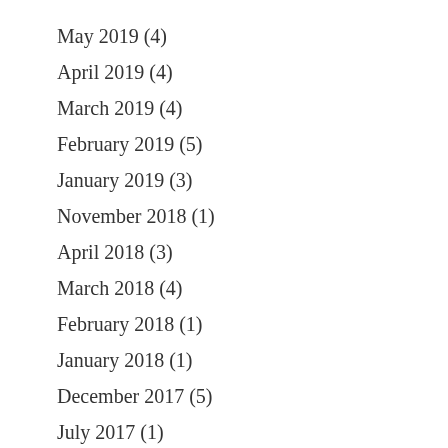May 2019 (4)
April 2019 (4)
March 2019 (4)
February 2019 (5)
January 2019 (3)
November 2018 (1)
April 2018 (3)
March 2018 (4)
February 2018 (1)
January 2018 (1)
December 2017 (5)
July 2017 (1)
April 2017 (1)
February 2017 (1)